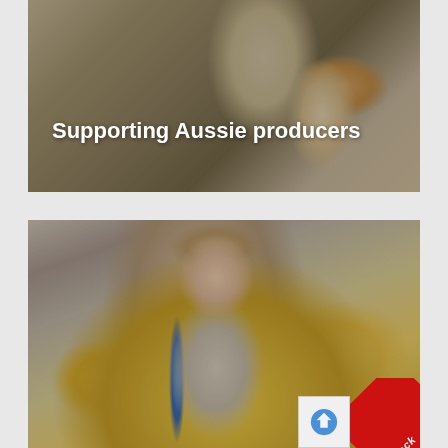[Figure (photo): A person in white attire holding a packaged food product with a dark label, photographed in a store/deli setting. Text overlay reads 'Supporting Aussie producers'.]
Supporting Aussie producers
[Figure (photo): A smiling young woman with blonde hair wearing a grey top and blue bag strap, standing in a supermarket produce section surrounded by yellow citrus fruits and other produce. A red 'Feedback' tab is visible in the bottom right corner.]